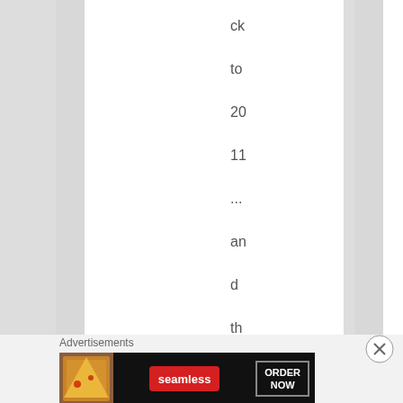ck to 2011 ... and that was the first time
Advertisements
[Figure (other): Seamless food delivery advertisement banner showing pizza slices on the left, Seamless logo in red in the center, and 'ORDER NOW' button on the right against a dark background]